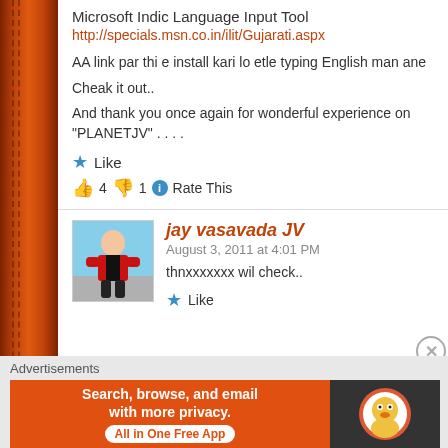Microsoft Indic Language Input Tool
http://specials.msn.co.in/ilit/Gujarati.aspx
AA link par thi e install kari lo etle typing English man ane
Cheak it out..
And thank you once again for wonderful experience on “PLANETJV” . . . .
★ Like
👍 4 👎 1 ⓘ Rate This
[Figure (photo): Avatar photo of jay vasavada JV, a person in a red shirt with mountains and blue sky in background]
jay vasavada JV
August 3, 2011 at 4:01 PM
thnxxxxxxx wil check..
★ Like
Advertisements
[Figure (infographic): DuckDuckGo advertisement banner: Search, browse, and email with more privacy. All in One Free App]